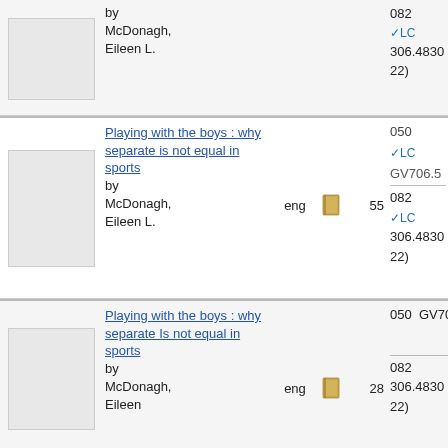| Thumbnail | Title/Author | Lang | Format | Count | Classification |
| --- | --- | --- | --- | --- | --- |
| [image] | Playing with the boys : why separate is not equal in sports
by McDonagh, Eileen L. | eng | [book icon] | 55 | 050 ✓LC GV706.5
082 ✓LC 306.4830 22) |
| [image] | Playing with the boys : why separate Is not equal in sports
by McDonagh, Eileen | eng | [book icon] | 28 | 050 GV706.5
082 306.4830 22) |
| [image] | Playing with the boys : why separate is not equal
... | eng | [book icon] | 9 | 082 306.4830 22) |